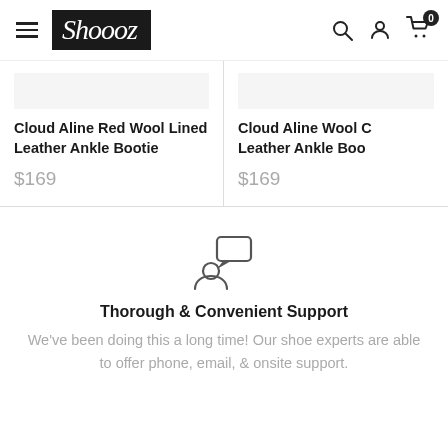Shoooz navigation header with hamburger menu, logo, search, account, and cart icons
Cloud Aline Red Wool Lined Leather Ankle Bootie
$169
Cloud Aline Wool C... Leather Ankle Boo...
$169
[Figure (illustration): Customer support icon: person silhouette with a speech/chat bubble above]
Thorough & Convenient Support
We've been doing this a long time! Our shoe experts are able to offer phone, email, & onsite support.